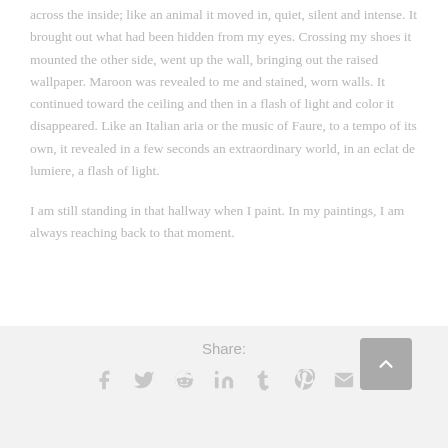across the inside; like an animal it moved in, quiet, silent and intense. It brought out what had been hidden from my eyes. Crossing my shoes it mounted the other side, went up the wall, bringing out the raised wallpaper. Maroon was revealed to me and stained, worn walls. It continued toward the ceiling and then in a flash of light and color it disappeared. Like an Italian aria or the music of Faure, to a tempo of its own, it revealed in a few seconds an extraordinary world, in an eclat de lumiere, a flash of light.
I am still standing in that hallway when I paint. In my paintings, I am always reaching back to that moment.
Share: [social icons: facebook, twitter, reddit, linkedin, tumblr, pinterest, email]